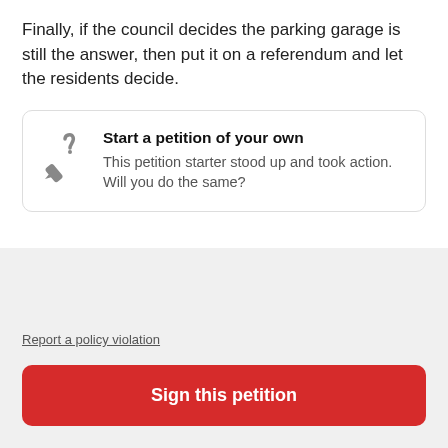Finally, if the council decides the parking garage is still the answer, then put it on a referendum and let the residents decide.
[Figure (infographic): Call-to-action card with a petition/pen icon, title 'Start a petition of your own', and body text 'This petition starter stood up and took action. Will you do the same?']
Report a policy violation
Sign this petition